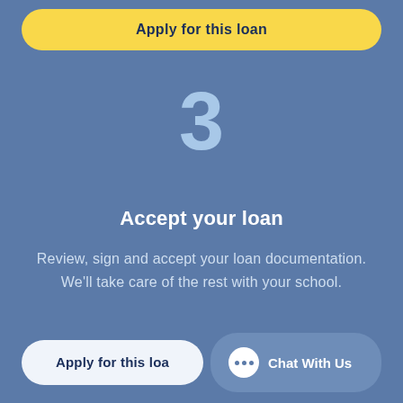Apply for this loan
3
Accept your loan
Review, sign and accept your loan documentation. We'll take care of the rest with your school.
Apply for this loan
Chat With Us